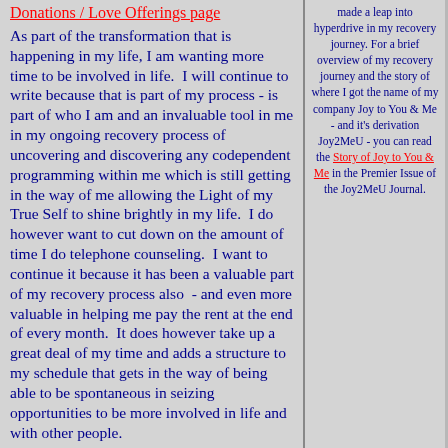Donations / Love Offerings page
As part of the transformation that is happening in my life, I am wanting more time to be involved in life.  I will continue to write because that is part of my process - is part of who I am and an invaluable tool in me in my ongoing recovery process of uncovering and discovering any codependent programming within me which is still getting in the way of me allowing the Light of my True Self to shine brightly in my life.  I do however want to cut down on the amount of time I do telephone counseling.  I want to continue it because it has been a valuable part of my recovery process also  - and even more valuable in helping me pay the rent at the end of every month.  It does however take up a great deal of my time and adds a structure to my schedule that gets in the way of being able to be spontaneous in seizing opportunities to be more involved in life and with other people.
made a leap into hyperdrive in my recovery journey. For a brief overview of my recovery journey and the story of where I got the name of my company Joy to You & Me - and it's derivation Joy2MeU - you can read the Story of Joy to You & Me in the Premier Issue of the Joy2MeU Journal.